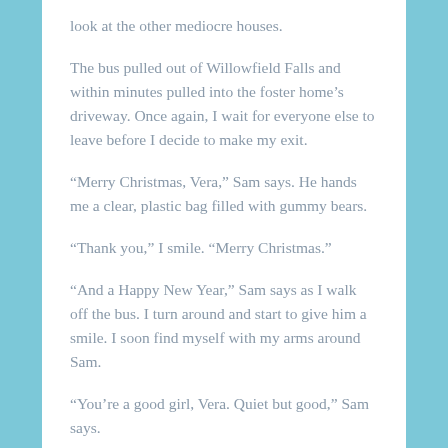look at the other mediocre houses.
The bus pulled out of Willowfield Falls and within minutes pulled into the foster home’s driveway. Once again, I wait for everyone else to leave before I decide to make my exit.
“Merry Christmas, Vera,” Sam says. He hands me a clear, plastic bag filled with gummy bears.
“Thank you,” I smile. “Merry Christmas.”
“And a Happy New Year,” Sam says as I walk off the bus. I turn around and start to give him a smile. I soon find myself with my arms around Sam.
“You’re a good girl, Vera. Quiet but good,” Sam says.